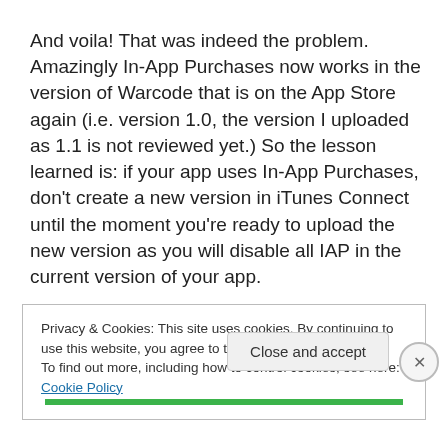And voila! That was indeed the problem. Amazingly In-App Purchases now works in the version of Warcode that is on the App Store again (i.e. version 1.0, the version I uploaded as 1.1 is not reviewed yet.) So the lesson learned is: if your app uses In-App Purchases, don't create a new version in iTunes Connect until the moment you're ready to upload the new version as you will disable all IAP in the current version of your app.
Privacy & Cookies: This site uses cookies. By continuing to use this website, you agree to their use.
To find out more, including how to control cookies, see here: Cookie Policy